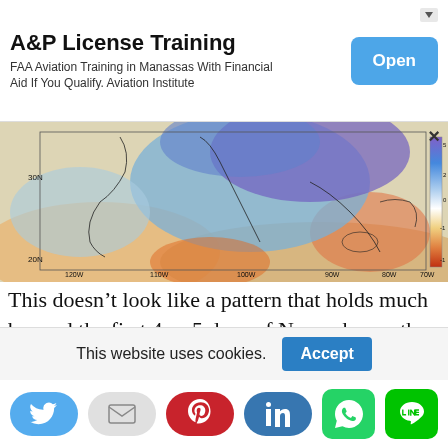[Figure (infographic): Advertisement banner: A&P License Training. FAA Aviation Training in Manassas With Financial Aid If You Qualify. Aviation Institute. With an Open button.]
[Figure (map): Weather map of North America showing temperature anomaly or pressure patterns with color gradient from orange/warm in south to blue/purple/cold in north. Latitude markers 30N, 20N and longitude markers 120W, 110W, 100W, 90W, 80W, 70W visible. Color scale bar on right side.]
This doesn’t look like a pattern that holds much beyond the first 4 or 5 days of November as the chess pieces in the upper air are likely to rearrange themselves again. it appears that the upper flow will flatten out from west to east after this brief
This website uses cookies.
[Figure (infographic): Social sharing buttons: Twitter (blue), Email (gray), Pinterest (red), LinkedIn (blue), WhatsApp (green square), LINE (green square)]